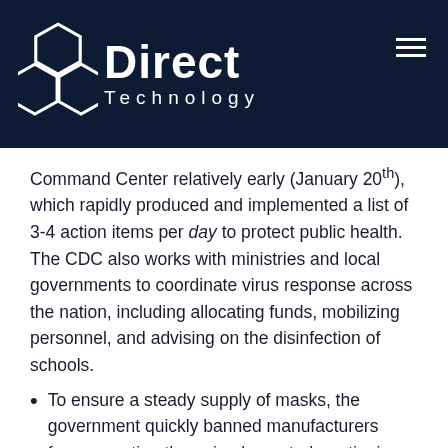[Figure (logo): Direct Technology company logo with hexagonal honeycomb icon and white text on dark navy background]
Command Center relatively early (January 20th), which rapidly produced and implemented a list of 3-4 action items per day to protect public health. The CDC also works with ministries and local governments to coordinate virus response across the nation, including allocating funds, mobilizing personnel, and advising on the disinfection of schools.
To ensure a steady supply of masks, the government quickly banned manufacturers from exporting them, implemented a rationing system, and set the price at just 16 cents each. It also set up new production lines and dispatched soldiers to staff factories, significantly increasing production